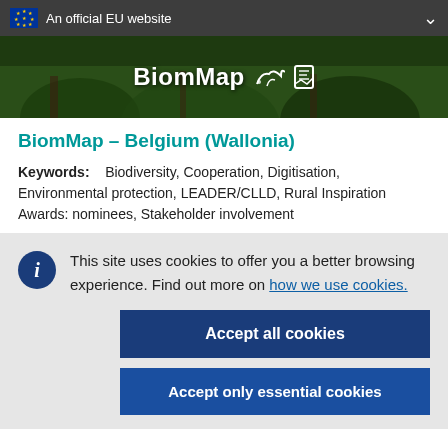An official EU website
[Figure (illustration): BiomMap website banner with green forest background showing BiomMap logo and icons]
BiomMap – Belgium (Wallonia)
Keywords:    Biodiversity, Cooperation, Digitisation, Environmental protection, LEADER/CLLD, Rural Inspiration Awards: nominees, Stakeholder involvement
This site uses cookies to offer you a better browsing experience. Find out more on how we use cookies.
Accept all cookies
Accept only essential cookies